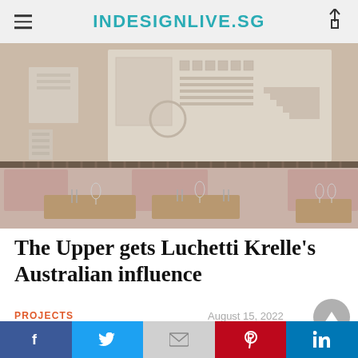INDESIGNLIVE.SG
[Figure (photo): Interior of The Upper restaurant showing booth seating with dusty rose/mauve upholstered seats, small wooden tables set with wine glasses and cutlery, vertical metal bar railings, and a large white sculptural relief artwork on the wall featuring geometric and architectural motifs.]
The Upper gets Luchetti Krelle's Australian influence
PROJECTS
August 15, 2022
Facebook  Twitter  Gmail  Pinterest  LinkedIn